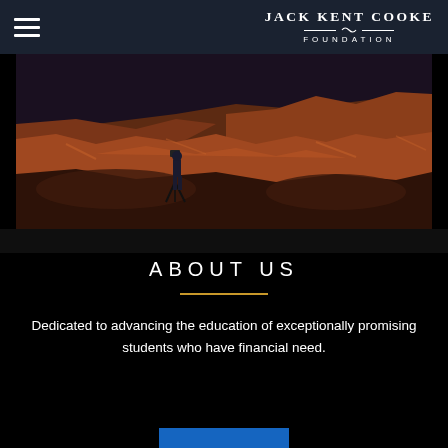Jack Kent Cooke Foundation
[Figure (photo): A photographer with a tripod standing on red rock canyon formations at dusk/night, photographing vast canyon landscape with dramatic red sandstone walls]
ABOUT US
Dedicated to advancing the education of exceptionally promising students who have financial need.